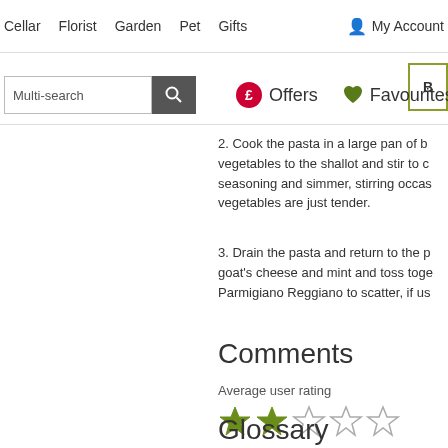Cellar  Florist  Garden  Pet  Gifts  My Account
[Figure (screenshot): Basket button partially visible on right side]
[Figure (screenshot): Search bar with Multi-search label, magnifying glass button, £ Offers circle badge, and heart Favourites icons in navigation]
2. Cook the pasta in a large pan of b... vegetables to the shallot and stir to c... seasoning and simmer, stirring occas... vegetables are just tender.
3. Drain the pasta and return to the p... goat's cheese and mint and toss toge... Parmigiano Reggiano to scatter, if us...
Comments
Average user rating
[Figure (other): 2 out of 5 stars rating (2 filled olive/green stars, 3 empty stars)]
Glossary